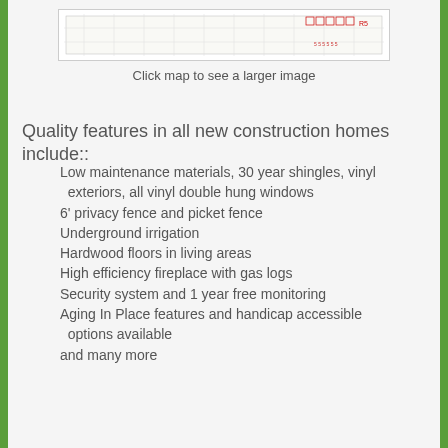[Figure (map): A partial map image showing a neighborhood or lot layout with red markings and grid lines]
Click map to see a larger image
Quality features in all new construction homes include::
Low maintenance materials, 30 year shingles, vinyl exteriors, all vinyl double hung windows
6' privacy fence and picket fence
Underground irrigation
Hardwood floors in living areas
High efficiency fireplace with gas logs
Security system and 1 year free monitoring
Aging In Place features and handicap accessible options available
and many more